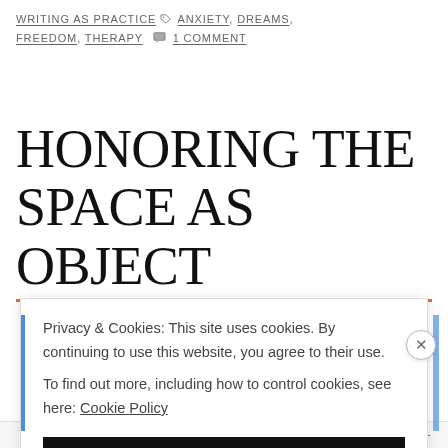WRITING AS PRACTICE  ANXIETY, DREAMS, FREEDOM, THERAPY  1 COMMENT
HONORING THE SPACE AS OBJECT
Privacy & Cookies: This site uses cookies. By continuing to use this website, you agree to their use.
To find out more, including how to control cookies, see here: Cookie Policy
Close and accept